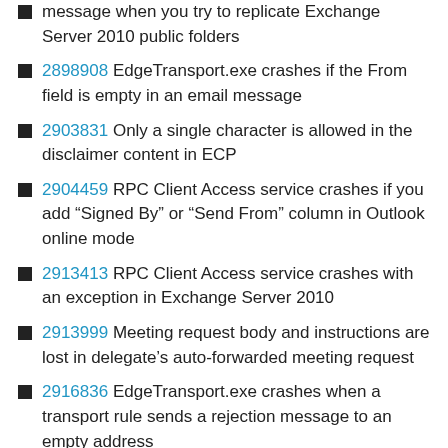message when you try to replicate Exchange Server 2010 public folders
2898908 EdgeTransport.exe crashes if the From field is empty in an email message
2903831 Only a single character is allowed in the disclaimer content in ECP
2904459 RPC Client Access service crashes if you add “Signed By” or “Send From” column in Outlook online mode
2913413 RPC Client Access service crashes with an exception in Exchange Server 2010
2913999 Meeting request body and instructions are lost in delegate’s auto-forwarded meeting request
2916836 EdgeTransport.exe crashes when a transport rule sends a rejection message to an empty address
2919513 Memory leak or memory corruption occurs in